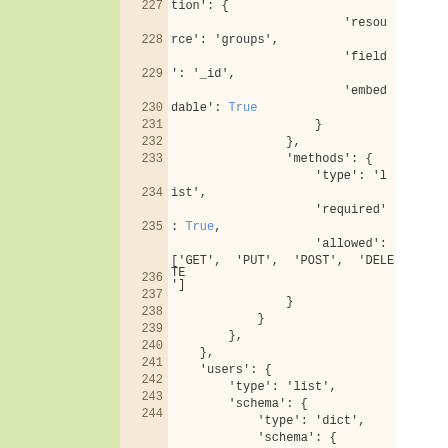[Figure (screenshot): Code listing showing Python/JSON-like dictionary structure with line numbers 227-244. Left side has a green sidebar. Code shows nested dictionary fields including resource, field, embeddable, methods, type, required, allowed (GET/PUT/POST/DELETE), users, type, schema, type, dict, schema.]